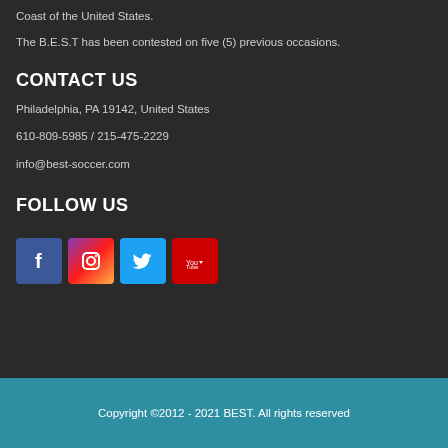Coast of the United States.
The B.E.S.T has been contested on five (5) previous occasions.
CONTACT US
Philadelphia, PA 19142, United States
610-809-5985 / 215-475-2229
info@best-soccer.com
FOLLOW US
[Figure (logo): Social media icons: Facebook, Instagram, Twitter, YouTube]
Copyright ©2012 - 2021 BEST. All rights reserved